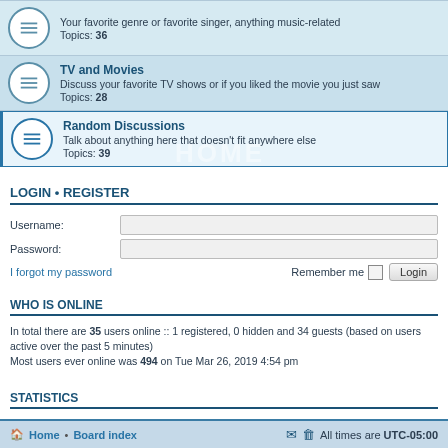Your favorite genre or favorite singer, anything music-related Topics: 36
TV and Movies — Discuss your favorite TV shows or if you liked the movie you just saw Topics: 28
Random Discussions — Talk about anything here that doesn't fit anywhere else Topics: 39
LOGIN • REGISTER
Username:
Password:
I forgot my password
Remember me   Login
WHO IS ONLINE
In total there are 35 users online :: 1 registered, 0 hidden and 34 guests (based on users active over the past 5 minutes)
Most users ever online was 494 on Tue Mar 26, 2019 4:54 pm
STATISTICS
Total posts 4335 • Total topics 1354 • Total members 971 • Our newest member inayat.ganesa
Home • Board index   All times are UTC-05:00